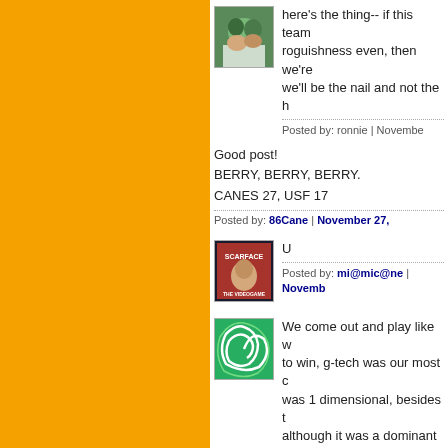[Figure (photo): Orange sidebar on left side of page]
here's the thing-- if this team ... roguishness even, then we're ... we'll be the nail and not the h
Posted by: ronnie | November...
Good post!
BERRY, BERRY, BERRY.
CANES 27, USF 17
Posted by: 86Cane | November 27,
[Figure (photo): Scarface book cover avatar image]
U
Posted by: mi@mic@ne | Novemb...
[Figure (illustration): Green swirl/starburst logo avatar]
We come out and play like w... to win, g-tech was our most c... was 1 dimensional, besides t... although it was a dominant p... this game without an intercep...